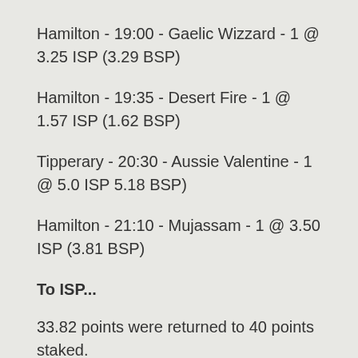Hamilton - 19:00 - Gaelic Wizzard - 1 @ 3.25 ISP (3.29 BSP)
Hamilton - 19:35 - Desert Fire - 1 @ 1.57 ISP (1.62 BSP)
Tipperary - 20:30 - Aussie Valentine - 1 @ 5.0 ISP 5.18 BSP)
Hamilton - 21:10 - Mujassam - 1 @ 3.50 ISP (3.81 BSP)
To ISP...
33.82 points were returned to 40 points staked.
This equates to a POI (profit on investment) of -15.45%
To BSP...
36.67 points were returned (after a 5% deduction) to